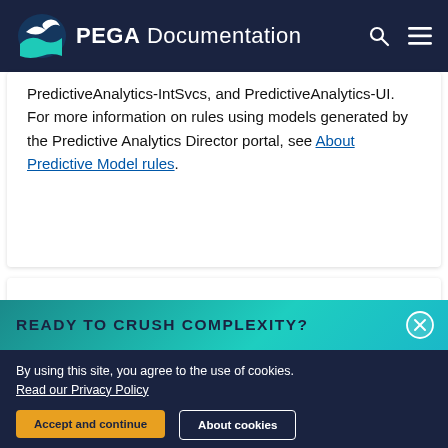PEGA Documentation
PredictiveAnalytics-IntSvcs, and PredictiveAnalytics-UI. For more information on rules using models generated by the Predictive Analytics Director portal, see About Predictive Model rules.
READY TO CRUSH COMPLEXITY?
By using this site, you agree to the use of cookies. Read our Privacy Policy
Accept and continue
About cookies